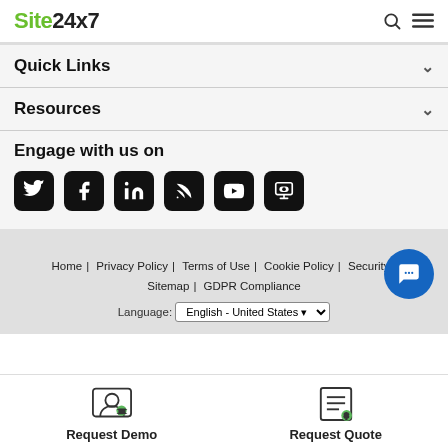Site24x7
Quick Links
Resources
Engage with us on
[Figure (illustration): Six social media icons: Twitter, Facebook, LinkedIn, RSS, YouTube, Slideshare — each in a rounded black square]
Home | Privacy Policy | Terms of Use | Cookie Policy | Security | Sitemap | GDPR Compliance
Language: English - United States
Request Demo
Request Quote